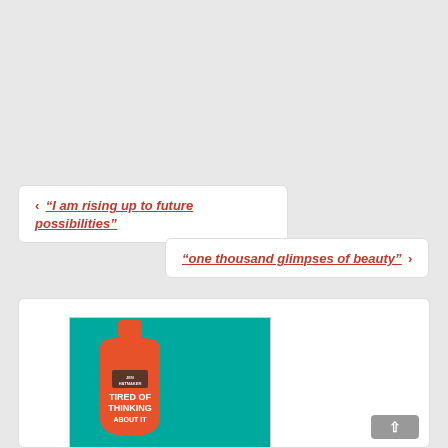‹ "I am rising up to future possibilities"
"one thousand glimpses of beauty" ›
[Figure (illustration): Book cover of 'Tired of Thinking...' showing an orange bottle shape on a teal background]